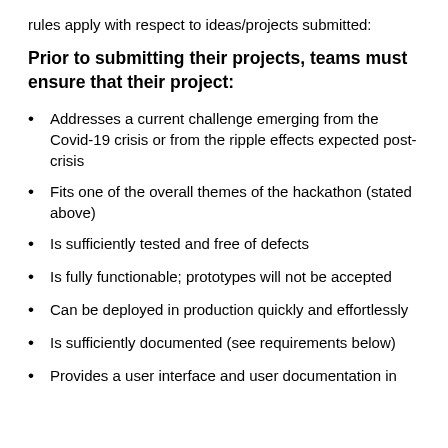rules apply with respect to ideas/projects submitted:
Prior to submitting their projects, teams must ensure that their project:
Addresses a current challenge emerging from the Covid-19 crisis or from the ripple effects expected post-crisis
Fits one of the overall themes of the hackathon (stated above)
Is sufficiently tested and free of defects
Is fully functionable; prototypes will not be accepted
Can be deployed in production quickly and effortlessly
Is sufficiently documented (see requirements below)
Provides a user interface and user documentation in…